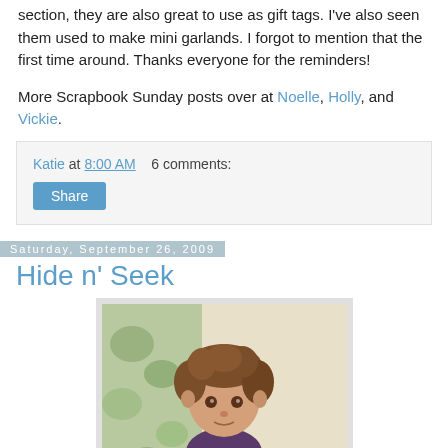section, they are also great to use as gift tags. I've also seen them used to make mini garlands. I forgot to mention that the first time around. Thanks everyone for the reminders!
More Scrapbook Sunday posts over at Noelle, Holly, and Vickie.
Katie at 8:00 AM   6 comments:
Saturday, September 26, 2009
Hide n' Seek
[Figure (photo): A young girl with curly brown hair looking at the camera, sitting in front of a floral background.]